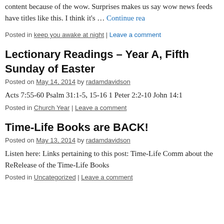content because of the wow. Surprises makes us say wow news feeds have titles like this. I think it's … Continue reading
Posted in keep you awake at night | Leave a comment
Lectionary Readings – Year A, Fifth Sunday of Easter
Posted on May 14, 2014 by radamdavidson
Acts 7:55-60 Psalm 31:1-5, 15-16 1 Peter 2:2-10 John 14:…
Posted in Church Year | Leave a comment
Time-Life Books are BACK!
Posted on May 13, 2014 by radamdavidson
Listen here: Links pertaining to this post: Time-Life Comm… about the ReRelease of the Time-Life Books
Posted in Uncategorized | Leave a comment